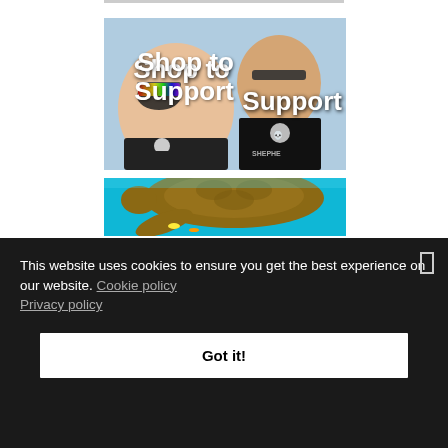[Figure (photo): Two children wearing sunglasses and black skull-print shirts, smiling. White bold text overlaid reads 'Shop to Support'.]
[Figure (photo): A sea turtle swimming underwater with colorful reef fish visible in background.]
This website uses cookies to ensure you get the best experience on our website. Cookie policy Privacy policy
Got it!